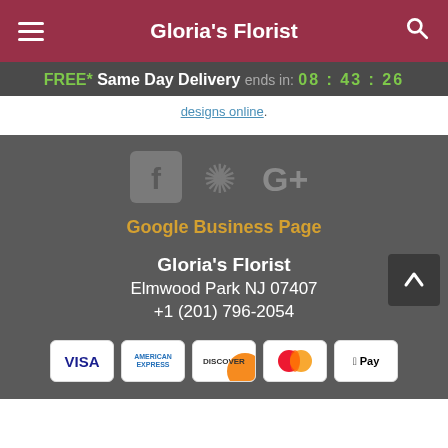Gloria's Florist
FREE* Same Day Delivery ends in: 08 : 43 : 26
designs online.
[Figure (illustration): Social media icons: Facebook, Yelp, Google+]
Google Business Page
Gloria's Florist
Elmwood Park NJ 07407
+1 (201) 796-2054
[Figure (illustration): Payment method icons: Visa, American Express, Discover, Mastercard, Apple Pay]